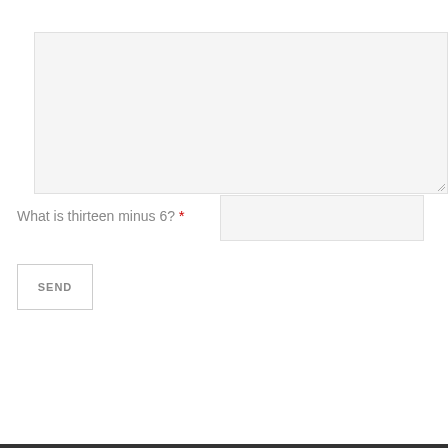[Figure (other): Large textarea input box with light gray background and resize handle in bottom-right corner]
What is thirteen minus 6? *
[Figure (other): Text input field with light gray background for captcha answer]
SEND